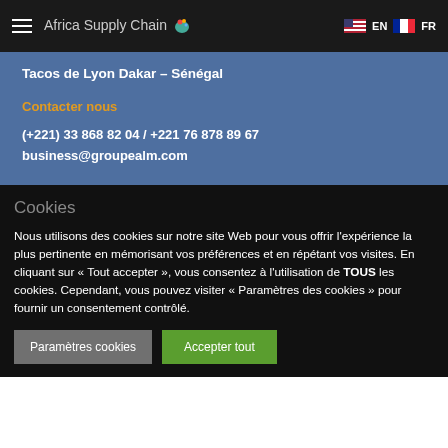Africa Supply Chain  EN  FR
Tacos de Lyon Dakar – Sénégal
Contacter nous
(+221) 33 868 82 04 / +221 76 878 89 67
business@groupealm.com
Cookies
Nous utilisons des cookies sur notre site Web pour vous offrir l'expérience la plus pertinente en mémorisant vos préférences et en répétant vos visites. En cliquant sur « Tout accepter », vous consentez à l'utilisation de TOUS les cookies. Cependant, vous pouvez visiter « Paramètres des cookies » pour fournir un consentement contrôlé.
Paramètres cookies  Accepter tout